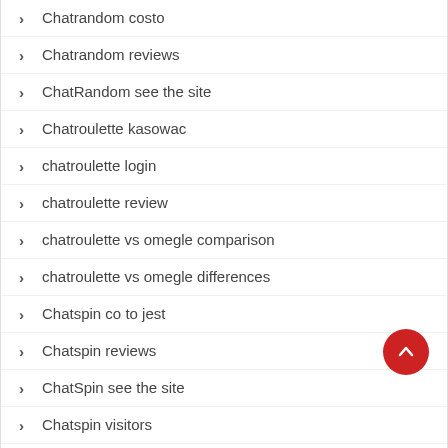Chatrandom costo
Chatrandom reviews
ChatRandom see the site
Chatroulette kasowac
chatroulette login
chatroulette review
chatroulette vs omegle comparison
chatroulette vs omegle differences
Chatspin co to jest
Chatspin reviews
ChatSpin see the site
Chatspin visitors
Chatstep app seiten
Chatstep reviews
Chatstep visitors